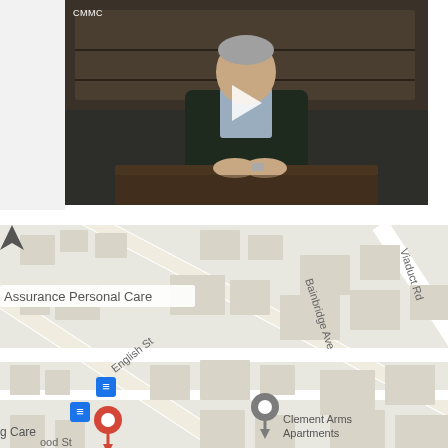[Figure (screenshot): Video thumbnail showing a man in a dark suit seated at a desk with hands folded, with CMMC text in top left and a white play button overlay]
[Figure (map): Google Maps view showing street map with Assurance Personal Care location marker, English St, Bainbridge Ave, Viaduct Rd, Clement Arms Apartments marker, and bus stop icons]